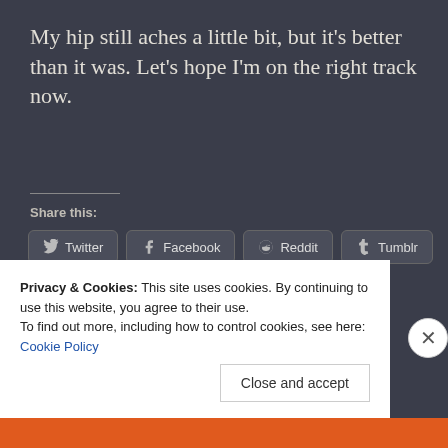My hip still aches a little bit, but it's better than it was. Let's hope I'm on the right track now.
Share this:
Twitter | Facebook | Reddit | Tumblr
Loading...
Privacy & Cookies: This site uses cookies. By continuing to use this website, you agree to their use. To find out more, including how to control cookies, see here: Cookie Policy
Close and accept